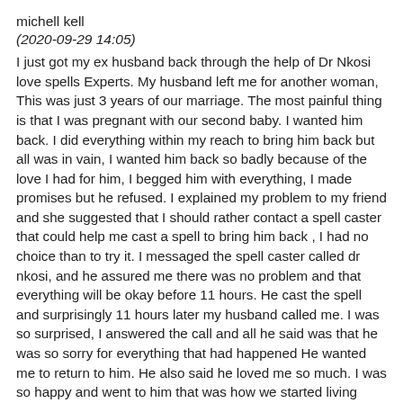michell kell
(2020-09-29 14:05)
I just got my ex husband back through the help of Dr Nkosi love spells Experts. My husband left me for another woman, This was just 3 years of our marriage. The most painful thing is that I was pregnant with our second baby. I wanted him back. I did everything within my reach to bring him back but all was in vain, I wanted him back so badly because of the love I had for him, I begged him with everything, I made promises but he refused. I explained my problem to my friend and she suggested that I should rather contact a spell caster that could help me cast a spell to bring him back , I had no choice than to try it. I messaged the spell caster called dr nkosi, and he assured me there was no problem and that everything will be okay before 11 hours. He cast the spell and surprisingly 11 hours later my husband called me. I was so surprised, I answered the call and all he said was that he was so sorry for everything that had happened He wanted me to return to him. He also said he loved me so much. I was so happy and went to him that was how we started living together happily again.thanks to dr nkosi. if you are here and your Lover is turning you down, or your husband moved to another woman, do not cry anymore, contact Dr.Nkosi for help now..Here his contact, WhatsApp him: +27820502562 {or} Email him at: